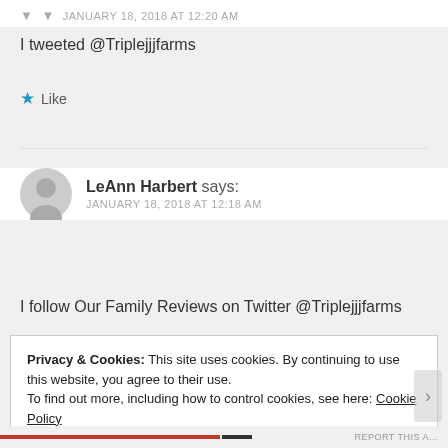JANUARY 18, 2018 AT 12:20 AM
I tweeted @Triplejjjfarms
★ Like
LeAnn Harbert says:
JANUARY 18, 2018 AT 12:18 AM
I follow Our Family Reviews on Twitter @Triplejjjfarms
Privacy & Cookies: This site uses cookies. By continuing to use this website, you agree to their use.
To find out more, including how to control cookies, see here: Cookie Policy
Close and accept